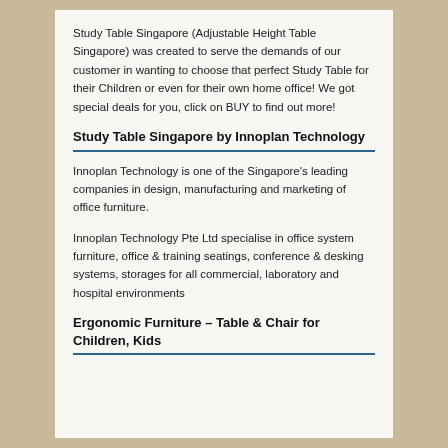Study Table Singapore (Adjustable Height Table Singapore) was created to serve the demands of our customer in wanting to choose that perfect Study Table for their Children or even for their own home office! We got special deals for you, click on BUY to find out more!
Study Table Singapore by Innoplan Technology
Innoplan Technology is one of the Singapore's leading companies in design, manufacturing and marketing of office furniture.
Innoplan Technology Pte Ltd specialise in office system furniture, office & training seatings, conference & desking systems, storages for all commercial, laboratory and hospital environments
Ergonomic Furniture – Table & Chair for Children, Kids